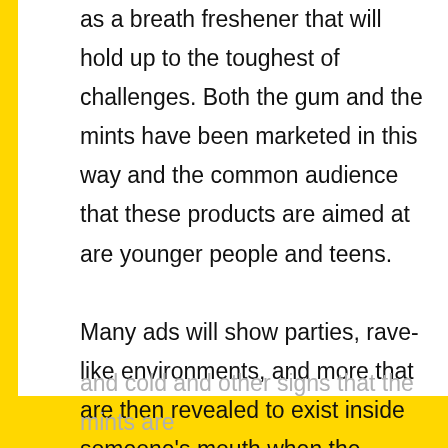as a breath freshener that will hold up to the toughest of challenges. Both the gum and the mints have been marketed in this way and the common audience that these products are aimed at are younger people and teens.

Many ads will show parties, rave-like environments, and more that are then revealed to exist inside someone's mouth when the camera pans back. There are usually also lots of images of snowflakes
and cold and other signs that the mints are